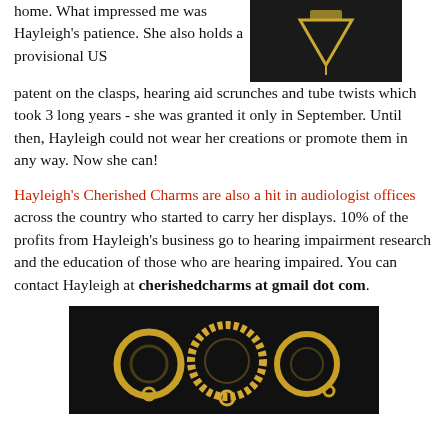home. What impressed me was Hayleigh's patience. She also holds a provisional US patent on the clasps, hearing aid scrunches and tube twists which took 3 long years - she was granted it only in September. Until then, Hayleigh could not wear her creations or promote them in any way. Now she can!
[Figure (photo): Photo of jewelry item (likely a clasp or charm) on dark background, top-right of page]
Hayleigh's Cherished Charms are also a hit in audiologist offices across the country who started to carry her displays. 10% of the profits from Hayleigh's business go to hearing impairment research and the education of those who are hearing impaired. You can contact Hayleigh at cherishedcharms at gmail dot com.
[Figure (photo): Photo of three gold hoop/ring charms on dark background, bottom-center of page]